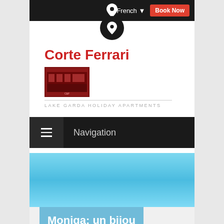French  Book Now
[Figure (logo): Map pin location icon in white on dark circle]
Corte Ferrari
[Figure (logo): Corte Ferrari building logo image in red/dark colors]
LAKE GARDA HOLIDAY APARTMENTS
Navigation
[Figure (photo): Blue sky gradient banner image]
Moniga: un bijou fantastique